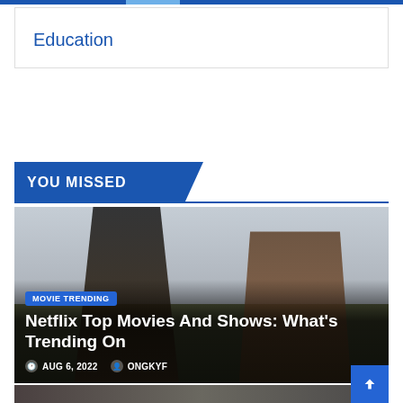Education
YOU MISSED
[Figure (photo): Two men facing each other outdoors on a cloudy day; the man on the left wears a tall black top hat and dark coat, the man on the right has curly hair and wears a brown coat.]
MOVIE TRENDING
Netflix Top Movies And Shows: What's Trending On
AUG 6, 2022  ONGKYF